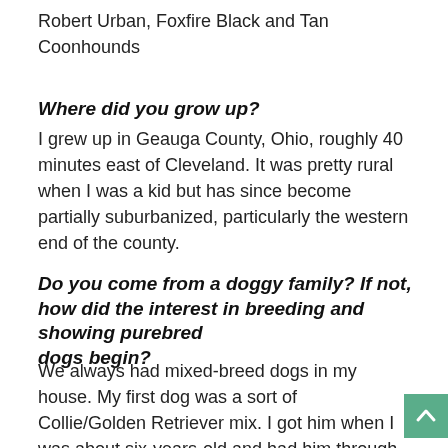Robert Urban, Foxfire Black and Tan Coonhounds
Where did you grow up?
I grew up in Geauga County, Ohio, roughly 40 minutes east of Cleveland. It was pretty rural when I was a kid but has since become partially suburbanized, particularly the western end of the county.
Do you come from a doggy family? If not, how did the interest in breeding and showing purebred dogs begin?
We always had mixed-breed dogs in my house. My first dog was a sort of Collie/Golden Retriever mix. I got him when I was about six-years-old and had him through most of my college years. My mom's family all came from Appalachian southeast Ohio and a number of my uncles had Beagles and Foxhounds. The